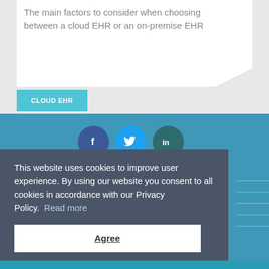The main factors to consider when choosing between a cloud EHR or an on-premise EHR
CLOUD EHR
[Figure (infographic): Social media share icons: Facebook (blue circle with f), Twitter (light blue circle with bird), LinkedIn (teal circle with in)]
This website uses cookies to improve user experience. By using our website you consent to all cookies in accordance with our Privacy Policy.  Read more
Agree